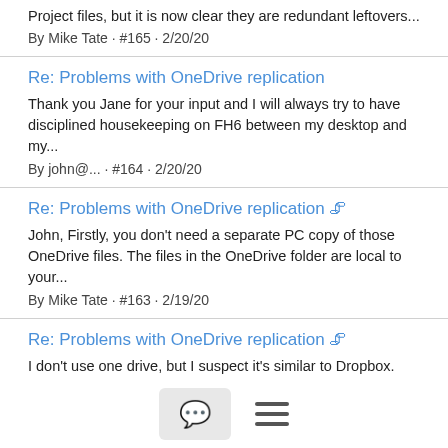Project files, but it is now clear they are redundant leftovers...
By Mike Tate · #165 · 2/20/20
Re: Problems with OneDrive replication
Thank you Jane for your input and I will always try to have disciplined housekeeping on FH6 between my desktop and my...
By john@... · #164 · 2/20/20
Re: Problems with OneDrive replication 📎
John, Firstly, you don't need a separate PC copy of those OneDrive files. The files in the OneDrive folder are local to your...
By Mike Tate · #163 · 2/19/20
Re: Problems with OneDrive replication 📎
I don't use one drive, but I suspect it's similar to Dropbox. Conflict files are created when you save the file back to the disk on both...
By Jane Taubman · #162 · 2/19/20
Problems with OneDrive replication 📎
A few months ago I decided to move the Family Historian Project...